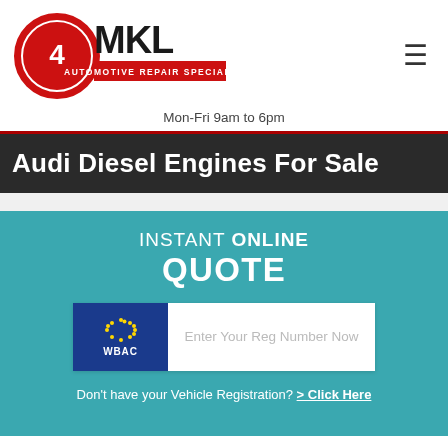[Figure (logo): MKL Automotive Repair Specialists logo - red circle with gear/wrench icon and bold MKL text]
Mon-Fri 9am to 6pm
Audi Diesel Engines For Sale
INSTANT ONLINE QUOTE
[Figure (screenshot): Registration number input field with WBAC blue EU stars badge on left and placeholder text 'Enter Your Reg Number Now']
Don't have your Vehicle Registration? > Click Here